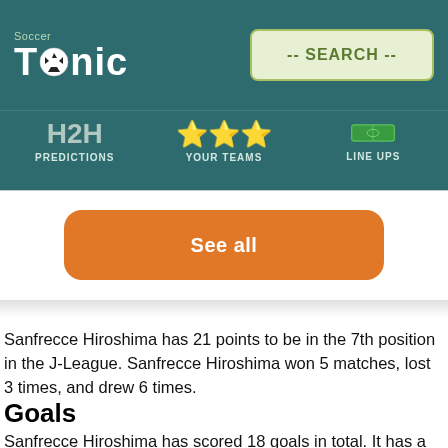Soccer Tonic -- SEARCH --
H2H PREDICTIONS  ★★★ YOUR TEAMS  LINE UPS
See all
Sanfrecce Hiroshima has 21 points to be in the 7th position in the J-League. Sanfrecce Hiroshima won 5 matches, lost 3 times, and drew 6 times.
Goals
Sanfrecce Hiroshima has scored 18 goals in total. It has a propensity to score later in the match. 5 goals were scored in the